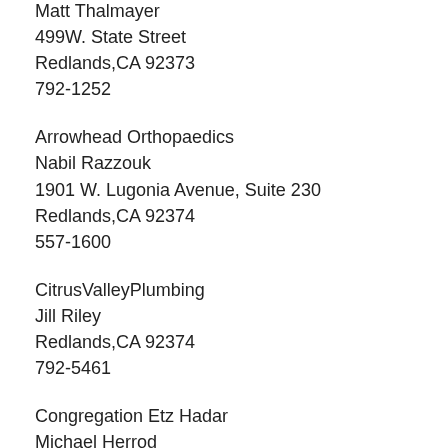Matt Thalmayer
499W. State Street
Redlands,CA 92373
792-1252
Arrowhead Orthopaedics
Nabil Razzouk
1901 W. Lugonia Avenue, Suite 230
Redlands,CA 92374
557-1600
CitrusValleyPlumbing
Jill Riley
Redlands,CA 92374
792-5461
Congregation Etz Hadar
Michael Herrod